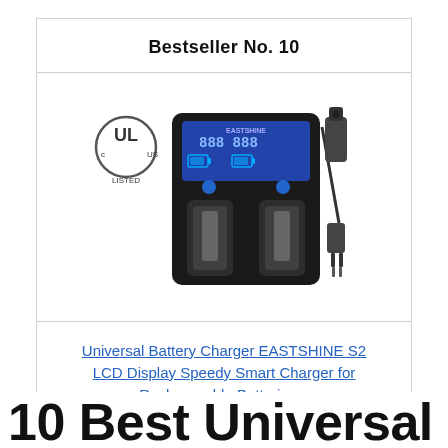Bestseller No. 10
[Figure (photo): EASTSHINE S2 universal battery charger with LCD display and car charger adapter, UL Listed certification logo visible]
Universal Battery Charger EASTSHINE S2 LCD Display Speedy Smart Charger for Rechargeable Batteries...
Buy on Amazon
10 Best Universal